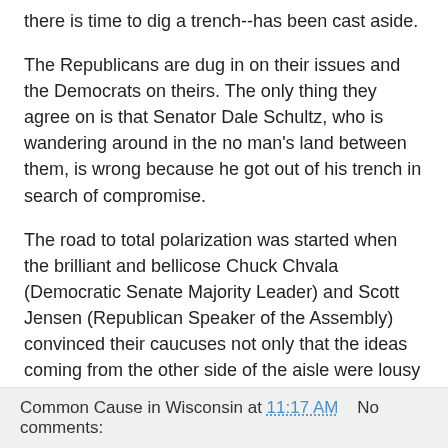there is time to dig a trench--has been cast aside.
The Republicans are dug in on their issues and the Democrats on theirs. The only thing they agree on is that Senator Dale Schultz, who is wandering around in the no man's land between them, is wrong because he got out of his trench in search of compromise.
The road to total polarization was started when the brilliant and bellicose Chuck Chvala (Democratic Senate Majority Leader) and Scott Jensen (Republican Speaker of the Assembly) convinced their caucuses not only that the ideas coming from the other side of the aisle were lousy but so were the people on the other side of the aisle who were espousing them.
The road from being adversaries to being enemies on a personal basis started then and has exacerbated ever since.
Common Cause in Wisconsin at 11:17 AM   No comments: